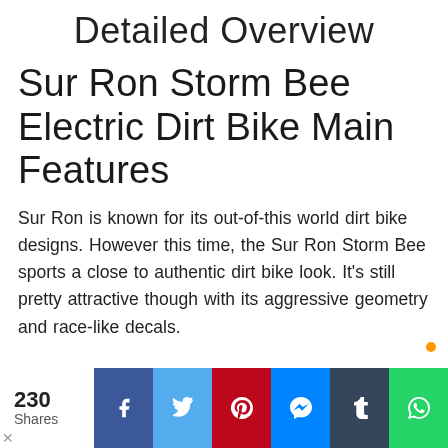Detailed Overview
Sur Ron Storm Bee Electric Dirt Bike Main Features
Sur Ron is known for its out-of-this world dirt bike designs. However this time, the Sur Ron Storm Bee sports a close to authentic dirt bike look. It's still pretty attractive though with its aggressive geometry and race-like decals.